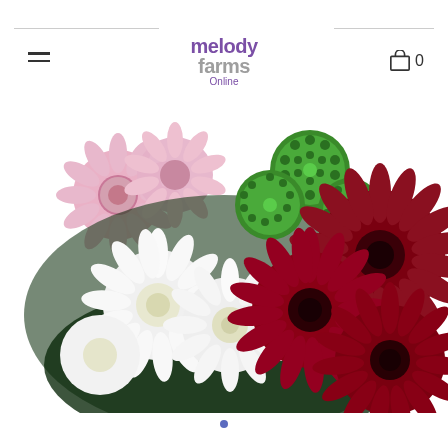melody farms Online
[Figure (photo): A bouquet of mixed flowers including pink chrysanthemums, green button chrysanthemums, white chrysanthemums, and dark red gerbera daisies arranged on a white background.]
0